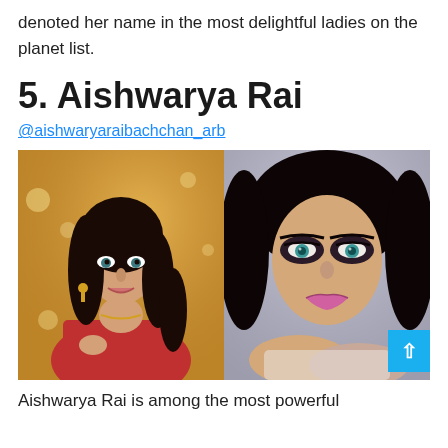denoted her name in the most delightful ladies on the planet list.
5. Aishwarya Rai
@aishwaryaraibachchan_arb
[Figure (photo): Two side-by-side photos of Aishwarya Rai. Left: wearing a red outfit with golden jewelry against a bokeh light background. Right: close-up with striking blue-green eyes and pink lipstick.]
Aishwarya Rai is among the most powerful